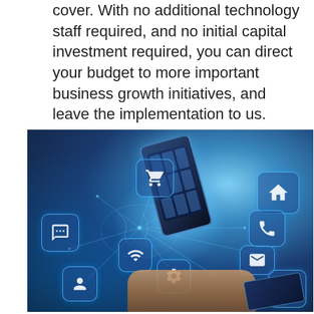cover. With no additional technology staff required, and no initial capital investment required, you can direct your budget to more important business growth initiatives, and leave the implementation to us.
[Figure (photo): A technology concept photo showing a smartphone surrounded by floating app icons (chat, home, shopping cart, wifi, settings, email, user, globe) connected by glowing blue lines, with a hand holding a tablet, set against a dark blue background with glowing blue light effects suggesting digital connectivity and mobile technology.]